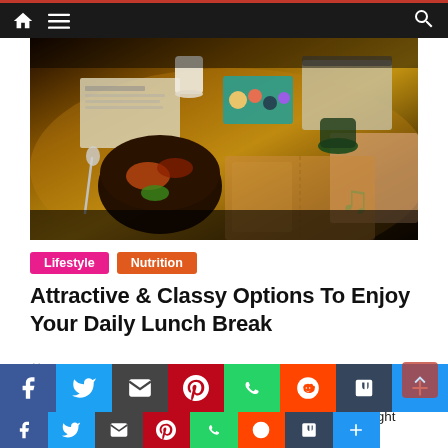Navigation bar with home, menu, and search icons
[Figure (photo): A desk with a bowl of food, a paper cup, colorful supplies in a teal box, notebooks, and decorative items on a wooden surface with warm orange lighting]
Lifestyle  Nutrition
Attractive & Classy Options To Enjoy Your Daily Lunch Break
July 16, 2022  Adam  0
Give Your Lunch Break a Makeover With These Style Tips
Many women go through their lunch breaks without a thought
[Figure (infographic): Social sharing buttons row: Facebook, Twitter, Email, Pinterest, WhatsApp, Reddit, Tumblr, Plus, and a second row below]